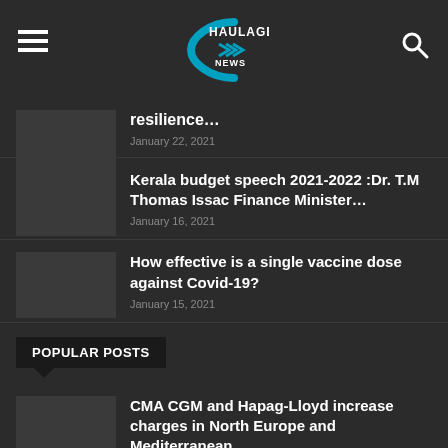Haulage News
resilience…
January 22, 2021
Kerala budget speech 2021-2022 :Dr. T.M Thomas Issac Finance Minister…
January 16, 2021
How effective is a single vaccine dose against Covid-19?
January 15, 2021
POPULAR POSTS
CMA CGM and Hapag-Lloyd increase charges in North Europe and Mediterranean
March 20, 2021